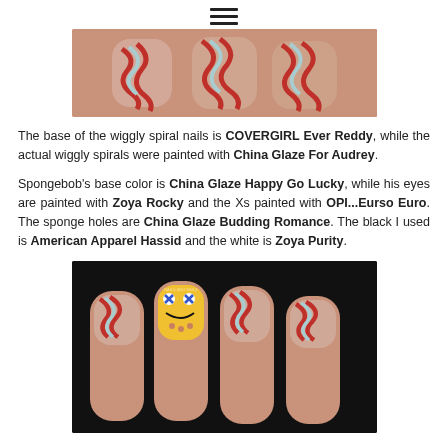☰
[Figure (photo): Close-up photo of fingernails with red and light blue wiggly spiral nail art design]
The base of the wiggly spiral nails is COVERGIRL Ever Reddy, while the actual wiggly spirals were painted with China Glaze For Audrey.
Spongebob's base color is China Glaze Happy Go Lucky, while his eyes are painted with Zoya Rocky and the Xs painted with OPI...Eurso Euro. The sponge holes are China Glaze Budding Romance. The black I used is American Apparel Hassid and the white is Zoya Purity.
[Figure (photo): Photo of hand with four nails showing red and light blue wiggly stripe nail art with a SpongeBob face on the middle nail, on a black background]